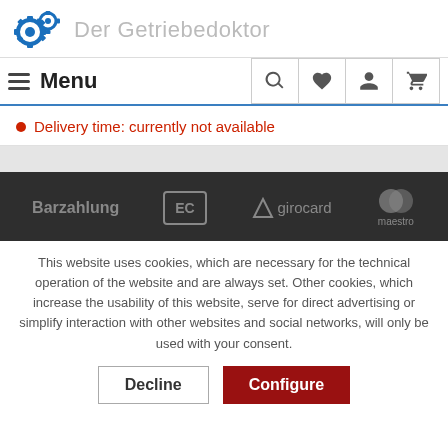Der Getriebedoktor
Menu
Delivery time: currently not available
[Figure (logo): Payment method logos: Barzahlung, EC, girocard, maestro on dark background]
This website uses cookies, which are necessary for the technical operation of the website and are always set. Other cookies, which increase the usability of this website, serve for direct advertising or simplify interaction with other websites and social networks, will only be used with your consent.
Decline  Configure